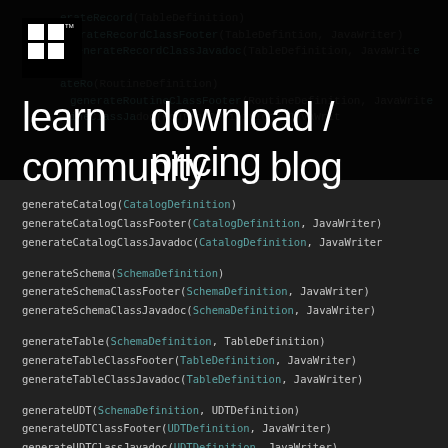[Figure (logo): jOOQ logo - white squares on black]
learn   download / pricing   community   blog
generateRecord(TableDefinition)
generateRecordClassFooter(TableDefintion, JavaWriter)
generateRecordClassJavadoc(TableDefinition, JavaWriter)
generateRoutineClassFooter(RoutineDefinition, JavaWriter)
generateRoutineClassJavadoc(RoutineDefinition, JavaWriter)
generateCatalog(CatalogDefinition)
generateCatalogClassFooter(CatalogDefinition, JavaWriter)
generateCatalogClassJavadoc(CatalogDefinition, JavaWriter)
generateSchema(SchemaDefinition)
generateSchemaClassFooter(SchemaDefinition, JavaWriter)
generateSchemaClassJavadoc(SchemaDefinition, JavaWriter)
generateTable(SchemaDefinition, TableDefinition)
generateTableClassFooter(TableDefinition, JavaWriter)
generateTableClassJavadoc(TableDefinition, JavaWriter)
generateUDT(SchemaDefinition, UDTDefinition)
generateUDTClassFooter(UDTDefinition, JavaWriter)
generateUDTClassJavadoc(UDTDefinition, JavaWriter)